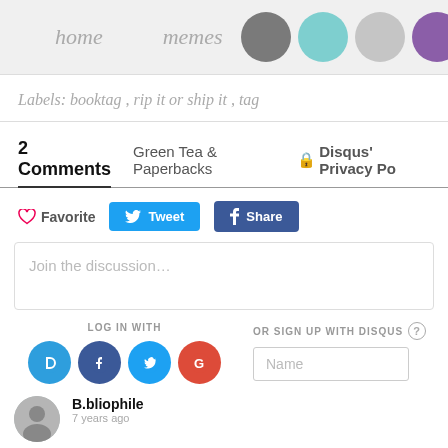home   memes
Labels: booktag , rip it or ship it , tag
2 Comments   Green Tea & Paperbacks   Disqus' Privacy Po
♡ Favorite   Tweet   Share
Join the discussion…
LOG IN WITH
OR SIGN UP WITH DISQUS ?
Name
B.bliophile
7 years ago
That's okay! Have you done this tag already? I'm curious about which...